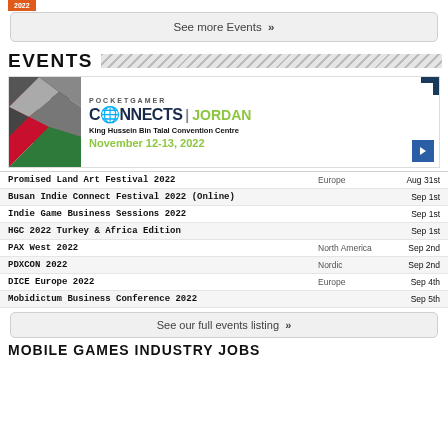[Figure (screenshot): Orange 2022 badge at top left]
See more Events »
EVENTS
[Figure (infographic): Pocket Gamer Connects Jordan banner with Jordan flag, logo, venue and date November 12-13, 2022]
| Event | Region | Date |
| --- | --- | --- |
| Promised Land Art Festival 2022 | Europe | Aug 31st |
| Busan Indie Connect Festival 2022 (Online) |  | Sep 1st |
| Indie Game Business Sessions 2022 |  | Sep 1st |
| HGC 2022 Turkey & Africa Edition |  | Sep 1st |
| PAX West 2022 | North America | Sep 2nd |
| PDXCON 2022 | Nordic | Sep 2nd |
| DICE Europe 2022 | Europe | Sep 4th |
| Mobidictum Business Conference 2022 |  | Sep 5th |
See our full events listing »
MOBILE GAMES INDUSTRY JOBS